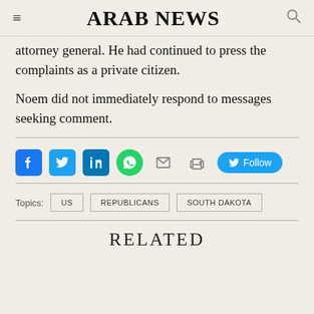ARAB NEWS
attorney general. He had continued to press the complaints as a private citizen.
Noem did not immediately respond to messages seeking comment.
[Figure (infographic): Social media share icons: Facebook, Twitter, LinkedIn, WhatsApp, Email, Print, and a Twitter Follow button]
Topics: US  REPUBLICANS  SOUTH DAKOTA
RELATED